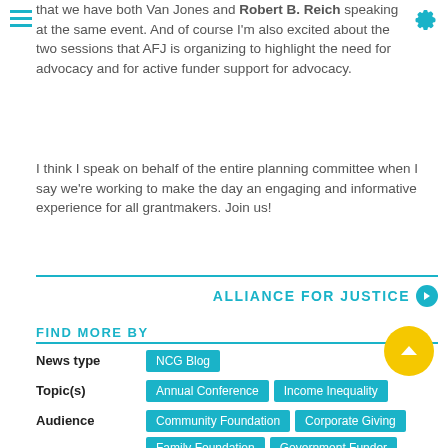that we have both Van Jones and Robert B. Reich speaking at the same event. And of course I'm also excited about the two sessions that AFJ is organizing to highlight the need for advocacy and for active funder support for advocacy.
I think I speak on behalf of the entire planning committee when I say we're working to make the day an engaging and informative experience for all grantmakers. Join us!
ALLIANCE FOR JUSTICE
FIND MORE BY
| Field | Values |
| --- | --- |
| News type | NCG Blog |
| Topic(s) | Annual Conference | Income Inequality |
| Audience | Community Foundation | Corporate Giving | Family Foundation | Government Funder | Private Foundation | Public Foundation |
| Funding Area | Economic & Community Development |